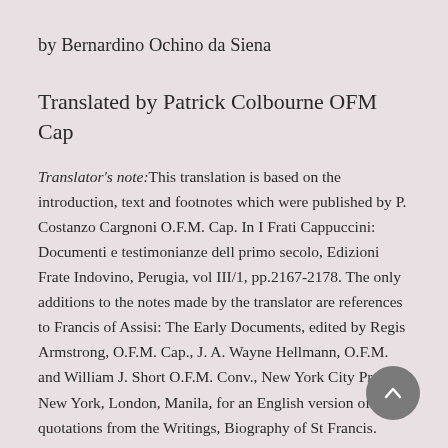by Bernardino Ochino da Siena
Translated by Patrick Colbourne OFM Cap
Translator's note: This translation is based on the introduction, text and footnotes which were published by P. Costanzo Cargnoni O.F.M. Cap. In I Frati Cappuccini: Documenti e testimonianze dell primo secolo, Edizioni Frate Indovino, Perugia, vol III/1, pp.2167-2178. The only additions to the notes made by the translator are references to Francis of Assisi: The Early Documents, edited by Regis Armstrong, O.F.M. Cap., J. A. Wayne Hellmann, O.F.M. and William J. Short O.F.M. Conv., New York City Press, New York, London, Manila, for an English version of quotations from the Writings, Biography of St Francis.